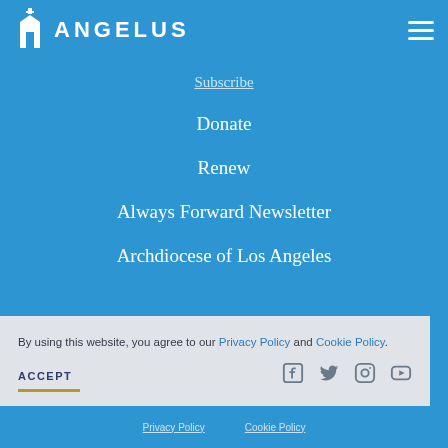ANGELUS
Subscribe
Donate
Renew
Always Forward Newsletter
Archdiocese of Los Angeles
By using this website, you agree to our Privacy Policy and Cookie Policy.
ACCEPT
Privacy Policy   Cookie Policy